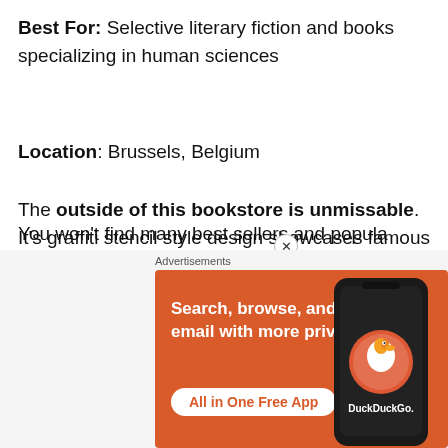Best For: Selective literary fiction and books specializing in human sciences
Location: Brussels, Belgium
The outside of this bookstore is unmissable. It's graffiti stencil style design showcases famous authors and this concept is extended inside where pictures of more famous authors are pasted on the ceiling.
You won't find many best sellers and popular books...
[Figure (screenshot): DuckDuckGo advertisement banner with orange background showing 'Search, browse, and email with more privacy. All in One Free App' with a phone displaying the DuckDuckGo app logo.]